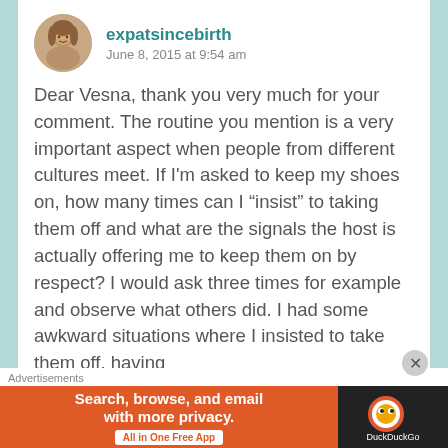[Figure (photo): Small circular avatar photo of a woman with brown hair, used as commenter profile picture]
expatsincebirth
June 8, 2015 at 9:54 am
Dear Vesna, thank you very much for your comment. The routine you mention is a very important aspect when people from different cultures meet. If I'm asked to keep my shoes on, how many times can I “insist” to taking them off and what are the signals the host is actually offering me to keep them on by respect? I would ask three times for example and observe what others did. I had some awkward situations where I insisted to take them off, having
Advertisements
[Figure (screenshot): DuckDuckGo advertisement banner. Left orange section reads 'Search, browse, and email with more privacy. All in One Free App'. Right dark section shows DuckDuckGo logo.]